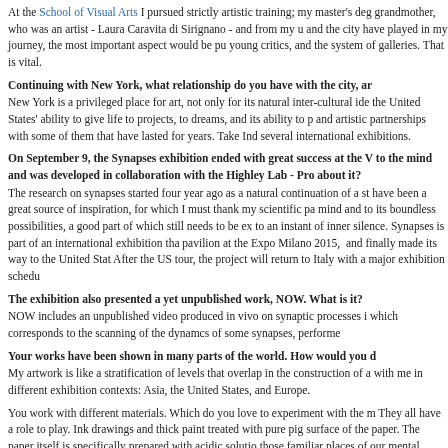At the School of Visual Arts I pursued strictly artistic training; my master's deg grandmother, who was an artist - Laura Caravita di Sirignano - and from my u and the city have played in my journey, the most important aspect would be pu young critics, and the system of galleries. That is vital.
Continuing with New York, what relationship do you have with the city, ar
New York is a privileged place for art, not only for its natural inter-cultural ide the United States' ability to give life to projects, to dreams, and its ability to p and artistic partnerships with some of them that have lasted for years. Take Ind several international exhibitions.
On September 9, the Synapses exhibition ended with great success at the V to the mind and was developed in collaboration with the Highley Lab - Pro about it?
The research on synapses started four year ago as a natural continuation of a s have been a great source of inspiration, for which I must thank my scientific pa mind and to its boundless possibilities, a good part of which still needs to be ex to an instant of inner silence. Synapses is part of an international exhibition tha pavilion at the Expo Milano 2015, and finally made its way to the United Stat After the US tour, the project will return to Italy with a major exhibition schedu
The exhibition also presented a yet unpublished work, NOW. What is it?
NOW includes an unpublished video produced in vivo on synaptic processes i which corresponds to the scanning of the dynamcs of some synapses, performe
Your works have been shown in many parts of the world. How would you d
My artwork is like a stratification of levels that overlap in the construction of a with me in different exhibition contexts: Asia, the United States, and Europe.
You work with different materials. Which do you love to experiment with the m They all have a role to play. Ink drawings and thick paint treated with pure pig surface of the paper. The paper itself is specifically prepared with acidic solutio those familiar places of our mental circuits that are inhabited by figures and me